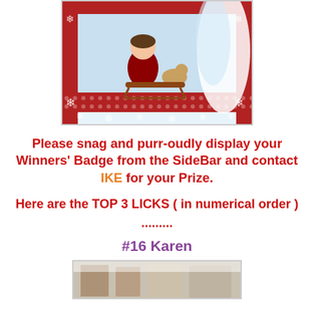[Figure (photo): A holiday greeting card featuring a cartoon girl on a sled with a cat, framed in red with snowflake decorations on a wintry background.]
Please snag and purr-oudly display your Winners' Badge from the SideBar and contact IKE for your Prize.
Here are the TOP 3 LICKS ( in numerical order ) .........
#16 Karen
[Figure (photo): Bottom portion of another greeting card entry, partially visible.]